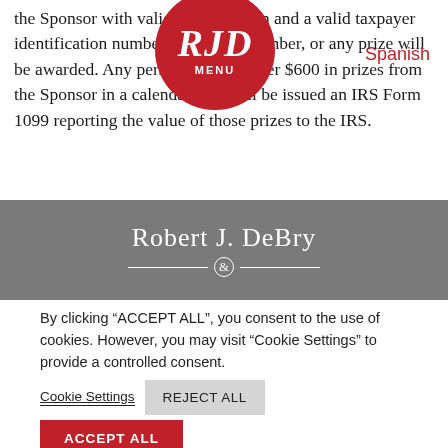the Sponsor with valid identification and a valid taxpayer identification number or security number, or any prize will be awarded. Any person winning over $600 in prizes from the Sponsor in a calendar year will be issued an IRS Form 1099 reporting the value of those prizes to the IRS.
[Figure (logo): Robert J. DeBry law firm logo — red circle with white italic RJD text and MENU label]
Spanish
[Figure (logo): Gray banner with white text 'Robert J. DeBry' and decorative ampersand divider line]
By clicking “ACCEPT ALL”, you consent to the use of cookies. However, you may visit "Cookie Settings" to provide a controlled consent.
Cookie Settings   REJECT ALL
ACCEPT ALL